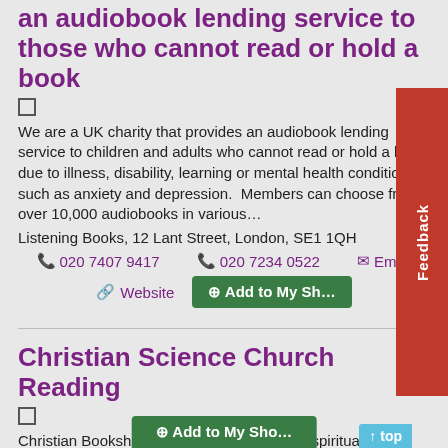an audiobook lending service to those who cannot read or hold a book
We are a UK charity that provides an audiobook lending service to children and adults who cannot read or hold a book due to illness, disability, learning or mental health conditions such as anxiety and depression.  Members can choose from over 10,000 audiobooks in various…
Listening Books, 12 Lant Street, London, SE1 1QH
020 7407 9417    020 7234 0522    Email
Website    Add to My Sh...
Christian Science Church Reading
Christian Bookshop and Church focused on spirituality and healing
52-54, Kings Road, READING, Berkshire, RG1 3AA
0118 959 0532    Email    Website